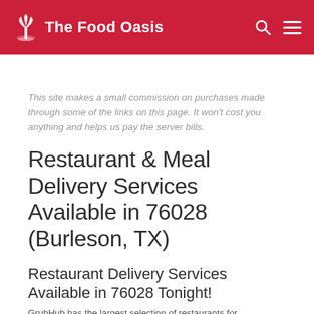The Food Oasis
This site makes a small commission on purchases made through some of the links on this page. It won't cost you anything and helps us pay the server bills.
Restaurant & Meal Delivery Services Available in 76028 (Burleson, TX)
Restaurant Delivery Services Available in 76028 Tonight!
GrubHub has the largest selection of restaurants for